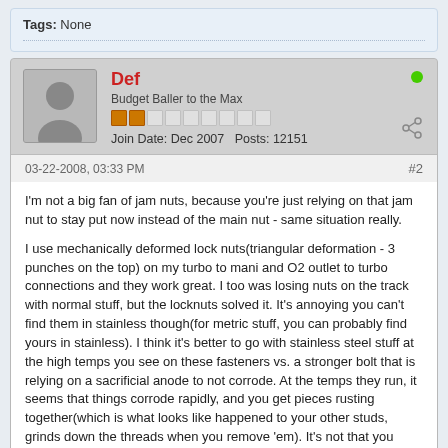Tags: None
Def
Budget Baller to the Max
Join Date: Dec 2007  Posts: 12151
03-22-2008, 03:33 PM  #2
I'm not a big fan of jam nuts, because you're just relying on that jam nut to stay put now instead of the main nut - same situation really.

I use mechanically deformed lock nuts(triangular deformation - 3 punches on the top) on my turbo to mani and O2 outlet to turbo connections and they work great. I too was losing nuts on the track with normal stuff, but the locknuts solved it. It's annoying you can't find them in stainless though(for metric stuff, you can probably find yours in stainless). I think it's better to go with stainless steel stuff at the high temps you see on these fasteners vs. a stronger bolt that is relying on a sacrificial anode to not corrode. At the temps they run, it seems that things corrode rapidly, and you get pieces rusting together(which is what looks like happened to your other studs, grinds down the threads when you remove 'em). It's not that you need high strength in that area, it's that you're constantly fighting corrosion, and stainless fasteners seem to work OK.